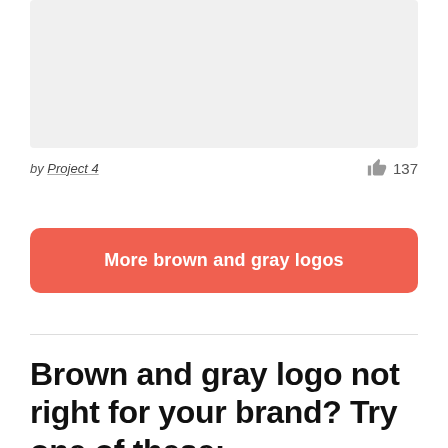[Figure (other): Gray placeholder image area at top of page]
by Project 4
137
More brown and gray logos
Brown and gray logo not right for your brand? Try one of these: